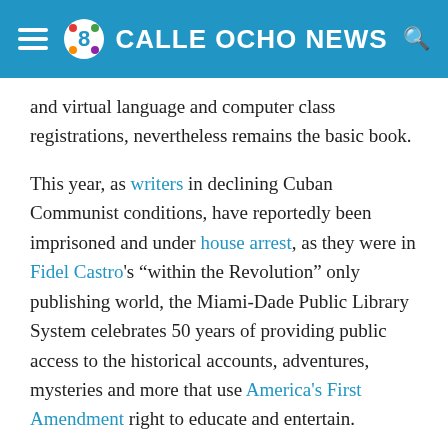CALLE OCHO NEWS
and virtual language and computer class registrations, nevertheless remains the basic book.
This year, as writers in declining Cuban Communist conditions, have reportedly been imprisoned and under house arrest, as they were in Fidel Castro's “within the Revolution” only publishing world, the Miami-Dade Public Library System celebrates 50 years of providing public access to the historical accounts, adventures, mysteries and more that use America's First Amendment right to educate and entertain.
Miami-Dade residents, through local libraries, have easy access to the books and e-books of authors whose manuscripts were confiscated in Fidel